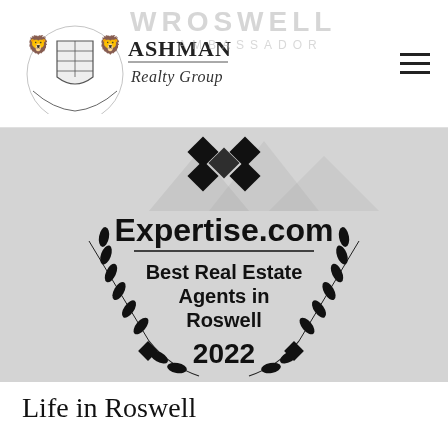[Figure (logo): Ashman Realty Group logo with shield emblem and lions, alongside navigation hamburger menu. Background watermark text reads WROSWELL AMBASSADOR.]
[Figure (illustration): Expertise.com award badge with laurel wreath design. Text reads: Expertise.com / Best Real Estate Agents in Roswell / 2022. Black on light grey background.]
Life in Roswell